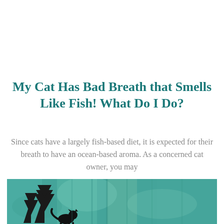My Cat Has Bad Breath that Smells Like Fish! What Do I Do?
Since cats have a largely fish-based diet, it is expected for their breath to have an ocean-based aroma. As a concerned cat owner, you may
[Figure (illustration): Teal/turquoise textured background illustration with silhouettes of pine trees and a cat on the lower left, suggesting an outdoor forest scene.]